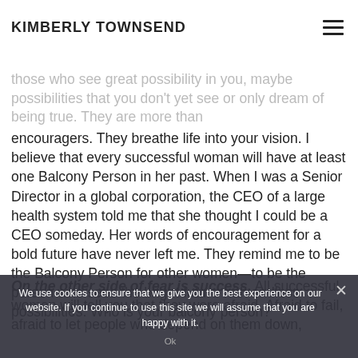KIMBERLY TOWNSEND
Seek out the Balcony people. "Balcony People" are those who see great possibility in you, maybe possibilities that you don't yet see or only dream of being true. They are more than encouragers. They breathe life into your vision. I believe that every successful woman will have at least one Balcony Person in her past. When I was a Senior Director in a global corporation, the CEO of a large health system told me that she thought I could be a CEO someday. Her words of encouragement for a bold future have never left me. They remind me to be the Balcony Person for other women—to be the person who sees the bright future with endless possibilities. Who is your balcony person?
On the other side of fear is success. All successful women will tell you that they were afraid. Afraid to fail, afraid to let people who depend on them down,
We use cookies to ensure that we give you the best experience on our website. If you continue to use this site we will assume that you are happy with it.